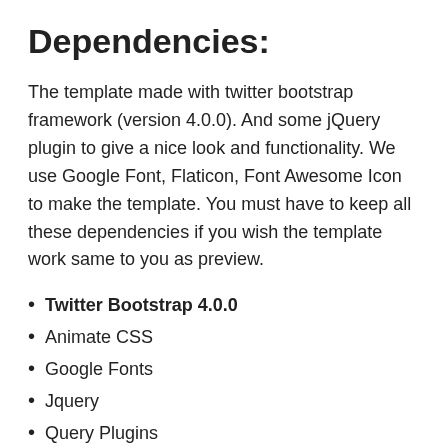Dependencies:
The template made with twitter bootstrap framework (version 4.0.0). And some jQuery plugin to give a nice look and functionality. We use Google Font, Flaticon, Font Awesome Icon to make the template. You must have to keep all these dependencies if you wish the template work same to you as preview.
Twitter Bootstrap 4.0.0
Animate CSS
Google Fonts
Jquery
Query Plugins
Bootstrap Submenu